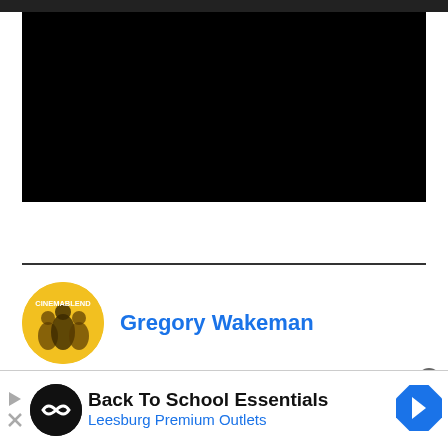[Figure (screenshot): Dark/black header navigation bar at top of webpage]
[Figure (screenshot): Black video player embed area]
[Figure (screenshot): CinemaBlend circular author avatar logo with yellow background showing silhouettes of people]
Gregory Wakeman
[Figure (screenshot): Advertisement banner: Back To School Essentials - Leesburg Premium Outlets, with circular logo and navigation/map icon]